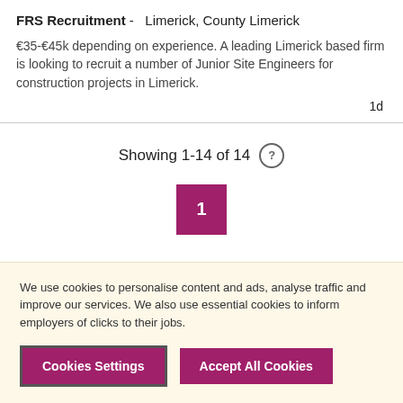FRS Recruitment - Limerick, County Limerick
€35-€45k depending on experience. A leading Limerick based firm is looking to recruit a number of Junior Site Engineers for construction projects in Limerick.
1d
Showing 1-14 of 14
1
We use cookies to personalise content and ads, analyse traffic and improve our services. We also use essential cookies to inform employers of clicks to their jobs.
Cookies Settings
Accept All Cookies